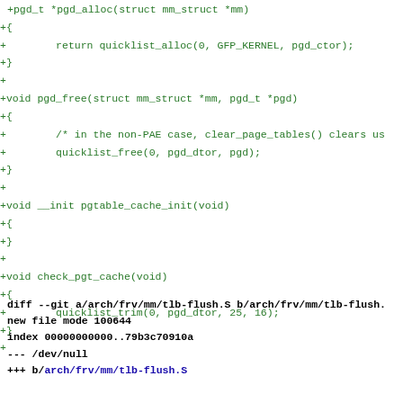+pgd_t *pgd_alloc(struct mm_struct *mm)
+{
+        return quicklist_alloc(0, GFP_KERNEL, pgd_ctor);
+}
+
+void pgd_free(struct mm_struct *mm, pgd_t *pgd)
+{
+        /* in the non-PAE case, clear_page_tables() clears us
+        quicklist_free(0, pgd_dtor, pgd);
+}
+
+void __init pgtable_cache_init(void)
+{
+}
+
+void check_pgt_cache(void)
+{
+        quicklist_trim(0, pgd_dtor, 25, 16);
+}
+
diff --git a/arch/frv/mm/tlb-flush.S b/arch/frv/mm/tlb-flush.
new file mode 100644
index 00000000000..79b3c70910a
--- /dev/null
+++ b/arch/frv/mm/tlb-flush.S